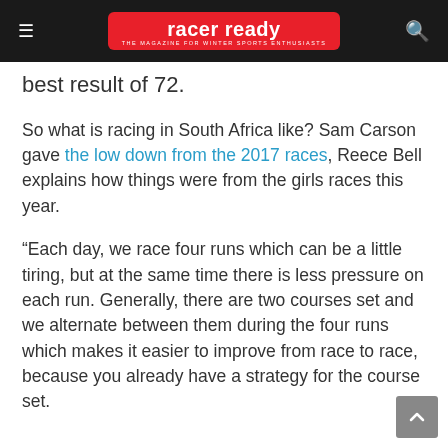racer ready — THE MAGAZINE FOR WINTER SPORTS ENTHUSIASTS
best result of 72.
So what is racing in South Africa like? Sam Carson gave the low down from the 2017 races, Reece Bell explains how things were from the girls races this year.
“Each day, we race four runs which can be a little tiring, but at the same time there is less pressure on each run. Generally, there are two courses set and we alternate between them during the four runs which makes it easier to improve from race to race, because you already have a strategy for the course set.